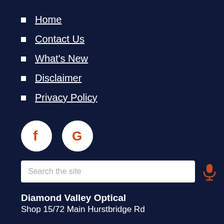Home
Contact Us
What's New
Disclaimer
Privacy Policy
[Figure (other): Facebook and Google social media icon buttons (circular white with orange icons)]
Search the site
Diamond Valley Optical
Shop 15/72 Main Hurstbridge Rd